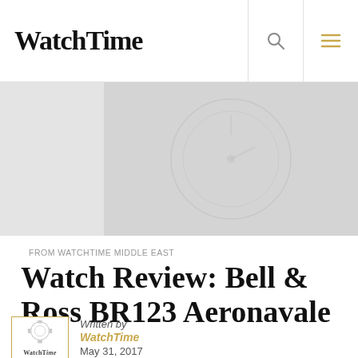WatchTime
[Figure (photo): Blurred/faded image of a watch movement or watch face]
FROM WATCHTIME MIDDLE EAST
Watch Review: Bell & Ross BR123 Aeronavale
[Figure (logo): WatchTime magazine logo thumbnail image with gear/watch illustration]
Written by
WatchTime
May 31, 2017